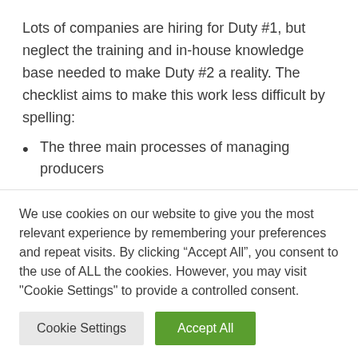Lots of companies are hiring for Duty #1, but neglect the training and in-house knowledge base needed to make Duty #2 a reality. The checklist aims to make this work less difficult by spelling:
The three main processes of managing producers
Minor duties of industry companies
Internal teams that potentially own every part of the process
We use cookies on our website to give you the most relevant experience by remembering your preferences and repeat visits. By clicking “Accept All”, you consent to the use of ALL the cookies. However, you may visit "Cookie Settings" to provide a controlled consent.